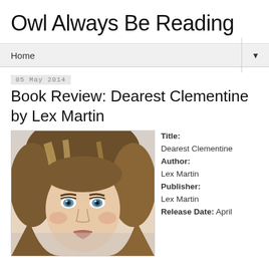Owl Always Be Reading
Home
05 May 2014
Book Review: Dearest Clementine by Lex Martin
[Figure (photo): Close-up portrait photo of a young woman with long blonde hair and blue eyes]
Title: Dearest Clementine
Author: Lex Martin
Publisher: Lex Martin
Release Date: April